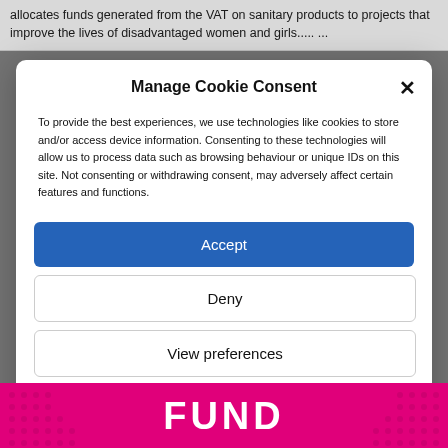allocates funds generated from the VAT on sanitary products to projects that improve the lives of disadvantaged women and girls..... ...
Manage Cookie Consent
To provide the best experiences, we use technologies like cookies to store and/or access device information. Consenting to these technologies will allow us to process data such as browsing behaviour or unique IDs on this site. Not consenting or withdrawing consent, may adversely affect certain features and functions.
Accept
Deny
View preferences
Cookie Policy   Privacy & Cookie Policy, Terms of Use
[Figure (other): Pink/magenta brand banner with text FUND and decorative dot patterns]